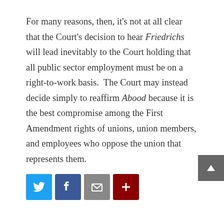For many reasons, then, it's not at all clear that the Court's decision to hear Friedrichs will lead inevitably to the Court holding that all public sector employment must be on a right-to-work basis.  The Court may instead decide simply to reaffirm Abood because it is the best compromise among the First Amendment rights of unions, union members, and employees who oppose the union that represents them.
[Figure (other): Social sharing buttons: Twitter (blue bird icon), Facebook (blue f icon), Email (grey envelope icon), Share more (dark red plus icon)]